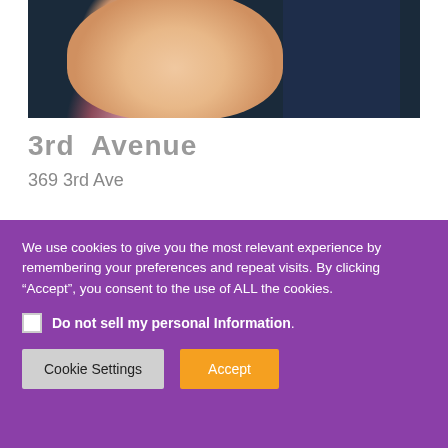[Figure (photo): Photo of smiling children outdoors, showing a girl in a pink outfit with curly hair on the left and a person in dark clothing on the right, with green background]
3rd Avenue
369 3rd Ave
We use cookies to give you the most relevant experience by remembering your preferences and repeat visits. By clicking “Accept”, you consent to the use of ALL the cookies.
Do not sell my personal Information.
Cookie Settings
Accept